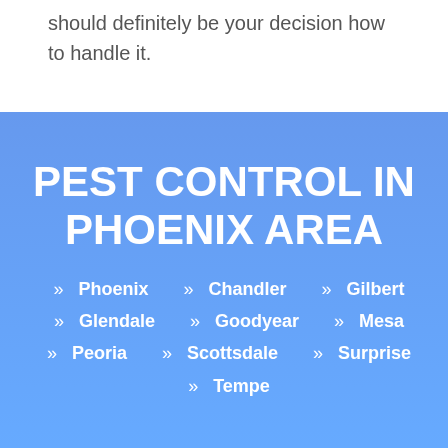should definitely be your decision how to handle it.
[Figure (infographic): Blue gradient banner advertising Pest Control in Phoenix Area with list of cities: Phoenix, Chandler, Gilbert, Glendale, Goodyear, Mesa, Peoria, Scottsdale, Surprise, Tempe]
PEST CONTROL IN PHOENIX AREA
» Phoenix
» Chandler
» Gilbert
» Glendale
» Goodyear
» Mesa
» Peoria
» Scottsdale
» Surprise
» Tempe